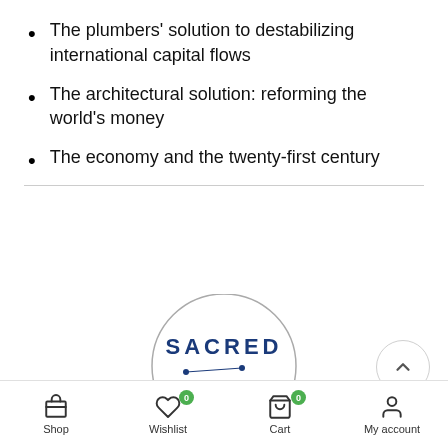The plumbers' solution to destabilizing international capital flows
The architectural solution: reforming the world's money
The economy and the twenty-first century
[Figure (logo): Sacred Traders logo — circular outline containing 'SACRED' in bold blue uppercase letters, a constellation graphic with dots and lines, and 'TRADERS' below in bold blue uppercase letters with a gear/asterisk icon to the left.]
Shop | Wishlist 0 | Cart 0 | My account